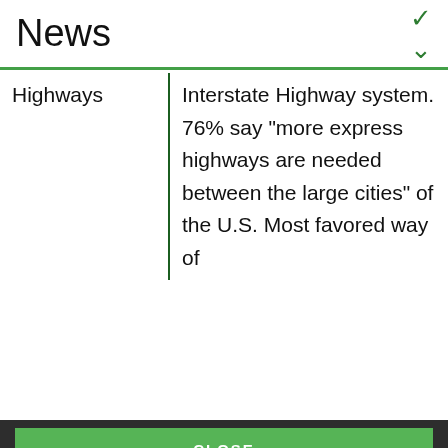News
| Highways | Interstate Highway system. 76% say "more express highways are needed between the large cities" of the U.S. Most favored way of |
CLOSE
Gallup uses Cookies to ensure the best website experience. Continuing without changing Cookie settings assumes you consent to our use of cookies on this device. You can change this setting at any time, but that may impair functionality on our websites.
Privacy Statement   Site Terms of Use and Sale   Product Terms of Use   Adjust your cookie settings.